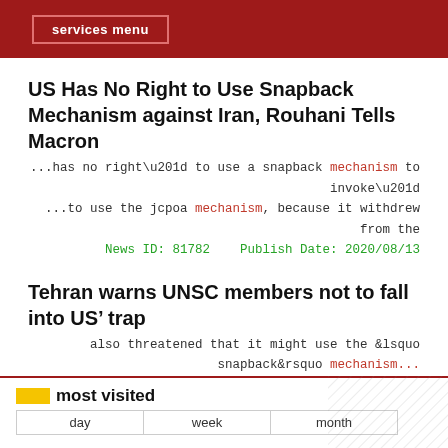services menu
US Has No Right to Use Snapback Mechanism against Iran, Rouhani Tells Macron
...has no right” to use a snapback mechanism to invoke”
...to use the jcpoa mechanism, because it withdrew from the
News ID: 81782    Publish Date: 2020/08/13
Tehran warns UNSC members not to fall into US’ trap
also threatened that it might use the &lsquo snapback&rsquo mechanism...
...mechanism elsewhere, when asked about the foreign ministry&rsquo s position
News ID: 81778    Publish Date: 2020/08/10
< 1 2 3 4 5 6 7 8 9 10 11 >
most visited
day   week   month